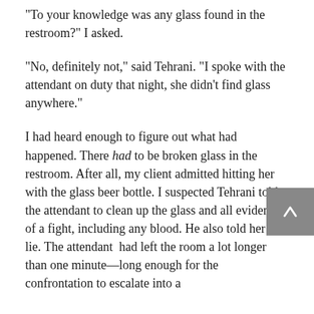"To your knowledge was any glass found in the restroom?" I asked.
"No, definitely not," said Tehrani. "I spoke with the attendant on duty that night, she didn't find glass anywhere."
I had heard enough to figure out what had happened. There had to be broken glass in the restroom. After all, my client admitted hitting her with the glass beer bottle. I suspected Tehrani told the attendant to clean up the glass and all evidence of a fight, including any blood. He also told her to lie. The attendant had left the room a lot longer than one minute—long enough for the confrontation to escalate into a